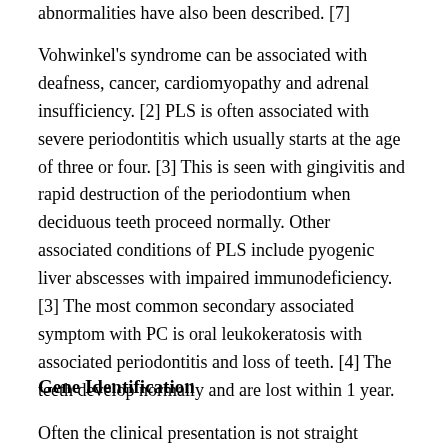abnormalities have also been described. [7]
Vohwinkel's syndrome can be associated with deafness, cancer, cardiomyopathy and adrenal insufficiency. [2] PLS is often associated with severe periodontitis which usually starts at the age of three or four. [3] This is seen with gingivitis and rapid destruction of the periodontium when deciduous teeth proceed normally. Other associated conditions of PLS include pyogenic liver abscesses with impaired immunodeficiency. [3] The most common secondary associated symptom with PC is oral leukokeratosis with associated periodontitis and loss of teeth. [4] The teeth develop normally and are lost within 1 year.
Gene Identification
Often the clinical presentation is not straight